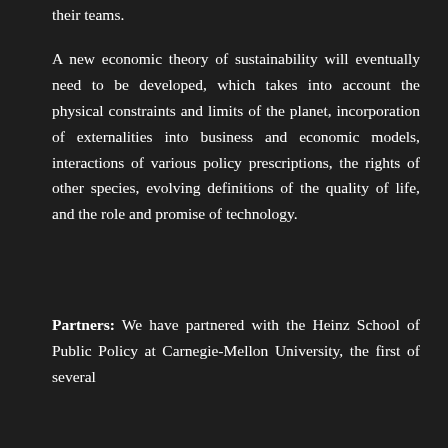their teams.
A new economic theory of sustainability will eventually need to be developed, which takes into account the physical constraints and limits of the planet, incorporation of externalities into business and economic models, interactions of various policy prescriptions, the rights of other species, evolving definitions of the quality of life, and the role and promise of technology.
Partners: We have partnered with the Heinz School of Public Policy at Carnegie-Mellon University, the first of several